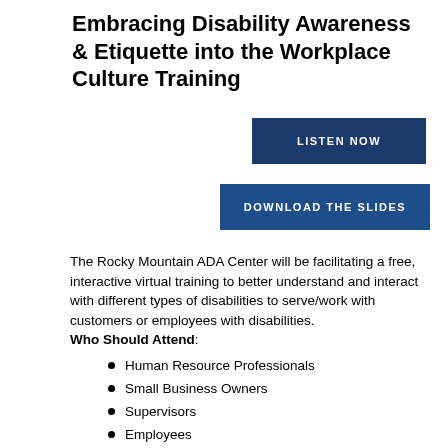Embracing Disability Awareness & Etiquette into the Workplace Culture Training
LISTEN NOW
DOWNLOAD THE SLIDES
The Rocky Mountain ADA Center will be facilitating a free, interactive virtual training to better understand and interact with different types of disabilities to serve/work with customers or employees with disabilities. Who Should Attend:
Human Resource Professionals
Small Business Owners
Supervisors
Employees